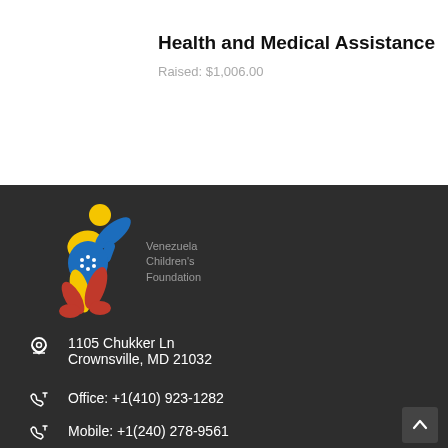Health and Medical Assistance
Raised: $1,006.00
[Figure (logo): Venezuela Children's Foundation logo — stylized child figure with Venezuelan flag colors (yellow, blue, red) with stars, beside text 'Venezuela Children's Foundation']
1105 Chukker Ln
Crownsville, MD 21032
Office: +1(410) 923-1282
Mobile: +1(240) 278-9561